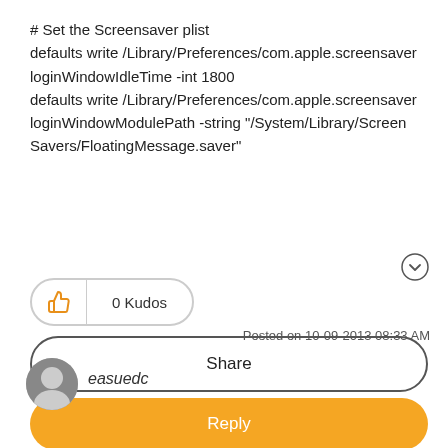# Set the Screensaver plist
defaults write /Library/Preferences/com.apple.screensaver loginWindowIdleTime -int 1800
defaults write /Library/Preferences/com.apple.screensaver loginWindowModulePath -string "/System/Library/Screen Savers/FloatingMessage.saver"
[Figure (other): Kudos button with thumbs up icon and '0 Kudos' label]
[Figure (other): Share button]
[Figure (other): Reply button (orange)]
[Figure (other): Options/chevron circle icon]
Posted on 10-09-2013 08:33 AM
[Figure (other): User avatar thumbnail]
easuedc